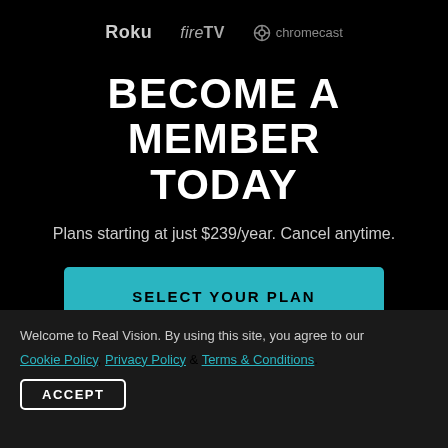[Figure (logo): Logos for Roku, fireTV, and Chromecast displayed in a row on a black background]
BECOME A MEMBER TODAY
Plans starting at just $239/year. Cancel anytime.
SELECT YOUR PLAN
Welcome to Real Vision. By using this site, you agree to our Cookie Policy, Privacy Policy & Terms & Conditions.
ACCEPT